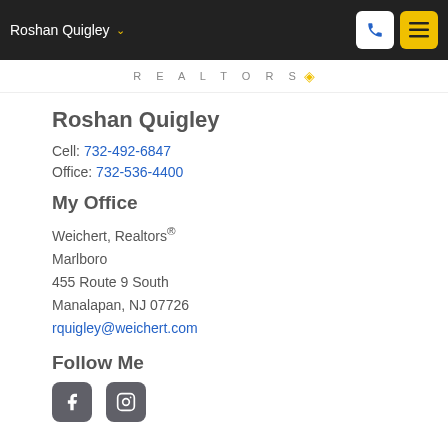Roshan Quigley
[Figure (logo): Weichert Realtors logo text with trademark mark]
Roshan Quigley
Cell: 732-492-6847
Office: 732-536-4400
My Office
Weichert, Realtors®
Marlboro
455 Route 9 South
Manalapan, NJ 07726
rquigley@weichert.com
Follow Me
[Figure (other): Facebook and Instagram social media icon buttons]